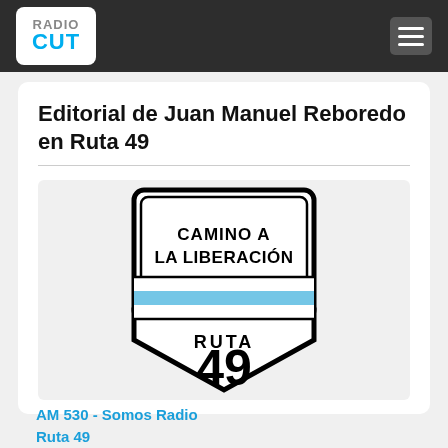RadioCut
Editorial de Juan Manuel Reboredo en Ruta 49
[Figure (logo): Argentine national route sign shield for Ruta 49 with text 'CAMINO A LA LIBERACIÓN' at top, Argentine flag colors stripe in middle (white and light blue), and 'RUTA 49' in large text at bottom]
AM 530 - Somos Radio
Ruta 49